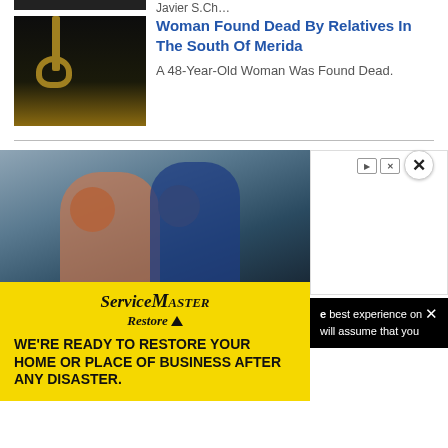[Figure (photo): Partial thumbnail image at top, cut off]
Javier S.Ch…
[Figure (photo): Noose hanging in a dark corridor with arched architecture lit in gold]
Woman Found Dead By Relatives In The South Of Merida
A 48-Year-Old Woman Was Found Dead.
[Figure (photo): Advertisement photo showing two people (a woman in plaid shirt and a man in navy) looking at something together in a kitchen/home setting]
[Figure (infographic): ServiceMaster Restore advertisement with yellow background. Logo text reads ServiceMaster Restore. Tagline: WE'RE READY TO RESTORE YOUR HOME OR PLACE OF BUSINESS AFTER ANY DISASTER.]
best experience on
will assume that you